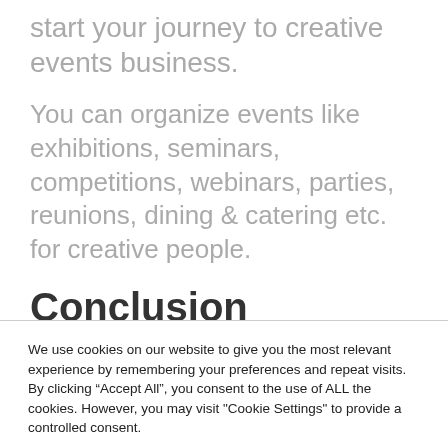start your journey to creative events business.
You can organize events like exhibitions, seminars, competitions, webinars, parties, reunions, dining & catering etc. for creative people.
Conclusion
We use cookies on our website to give you the most relevant experience by remembering your preferences and repeat visits. By clicking “Accept All”, you consent to the use of ALL the cookies. However, you may visit "Cookie Settings" to provide a controlled consent.
Cookie Settings | Accept All